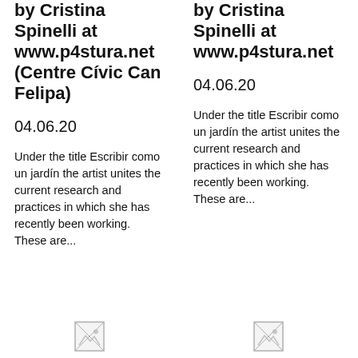by Cristina Spinelli at www.p4stura.net (Centre Cívic Can Felipa)
04.06.20
Under the title Escribir como un jardín the artist unites the current research and practices in which she has recently been working. These are...
by Cristina Spinelli at www.p4stura.net
04.06.20
Under the title Escribir como un jardín the artist unites the current research and practices in which she has recently been working. These are...
[Figure (photo): Broken image placeholder, left column]
[Figure (photo): Broken image placeholder, right column]